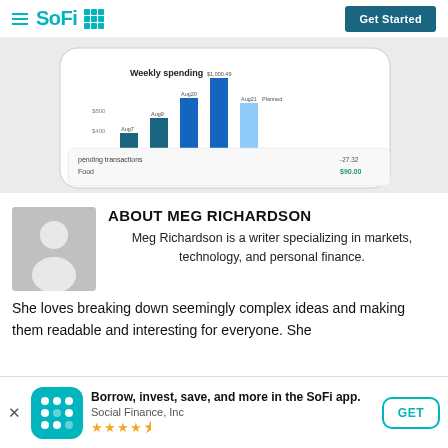SoFi | Get Started
[Figure (screenshot): SoFi mobile app screenshot showing Weekly spending bar chart with bars for Aug 7, Aug 9, Aug 20, Aug 21 and a spending transactions panel. Values shown include $1,000.49 and others. Light gray background.]
ABOUT MEG RICHARDSON
Meg Richardson is a writer specializing in markets, technology, and personal finance. She loves breaking down seemingly complex ideas and making them readable and interesting for everyone. She
[Figure (logo): SoFi app icon — teal/cyan background with 3x3 grid of white dots/circles]
Borrow, invest, save, and more in the SoFi app.
Social Finance, Inc
★★★★½
GET